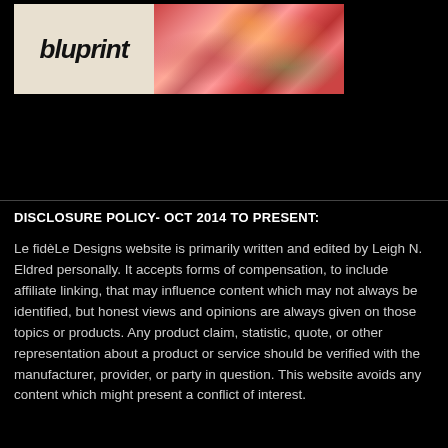[Figure (photo): Bluprint banner advertisement showing the Bluprint logo on a beige background on the left and a food/vegetable stir-fry dish photo on the right]
DISCLOSURE POLICY- OCT 2014 TO PRESENT:
Le fidèLe Designs website is primarily written and edited by Leigh N. Eldred personally. It accepts forms of compensation, to include affiliate linking, that may influence content which may not always be identified, but honest views and opinions are always given on those topics or products. Any product claim, statistic, quote, or other representation about a product or service should be verified with the manufacturer, provider, or party in question. This website avoids any content which might present a conflict of interest.